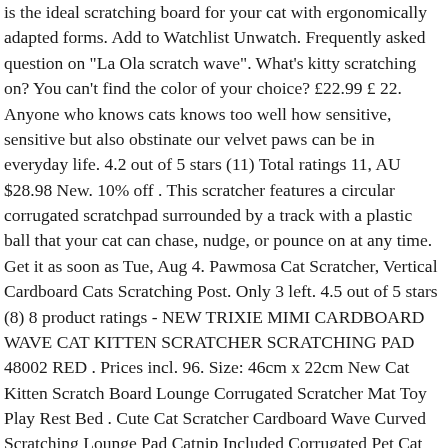is the ideal scratching board for your cat with ergonomically adapted forms. Add to Watchlist Unwatch. Frequently asked question on "La Ola scratch wave". What's kitty scratching on? You can't find the color of your choice? £22.99 £ 22. Anyone who knows cats knows too well how sensitive, sensitive but also obstinate our velvet paws can be in everyday life. 4.2 out of 5 stars (11) Total ratings 11, AU $28.98 New. 10% off . This scratcher features a circular corrugated scratchpad surrounded by a track with a plastic ball that your cat can chase, nudge, or pounce on at any time. Get it as soon as Tue, Aug 4. Pawmosa Cat Scratcher, Vertical Cardboard Cats Scratching Post. Only 3 left. 4.5 out of 5 stars (8) 8 product ratings - NEW TRIXIE MIMI CARDBOARD WAVE CAT KITTEN SCRATCHER SCRATCHING PAD 48002 RED . Prices incl. 96. Size: 46cm x 22cm New Cat Kitten Scratch Board Lounge Corrugated Scratcher Mat Toy Play Rest Bed . Cute Cat Scratcher Cardboard Wave Curved Scratching Lounge Pad Catnip Included Corrugated Pet Cat Toy: